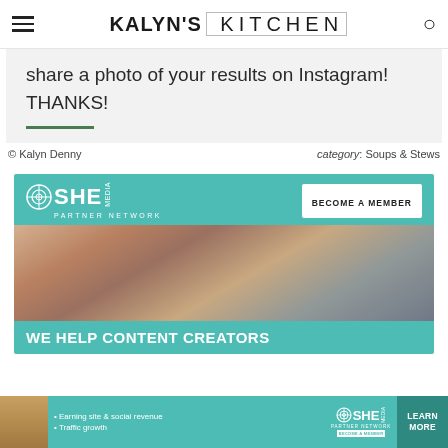KALYN'S KITCHEN
share a photo of your results on Instagram! THANKS!
© Kalyn Denny    category: Soups & Stews
[Figure (photo): SHE Media Partner Network advertisement with 'Become a Member' button, photo of smiling woman with glasses looking at laptop, and 'WE HELP CONTENT CREATORS' text on teal background]
[Figure (photo): Bottom banner ad for SHE Media Partner Network showing woman, bullet points about earning site & social revenue and traffic growth, SHE logo, and Learn More button]